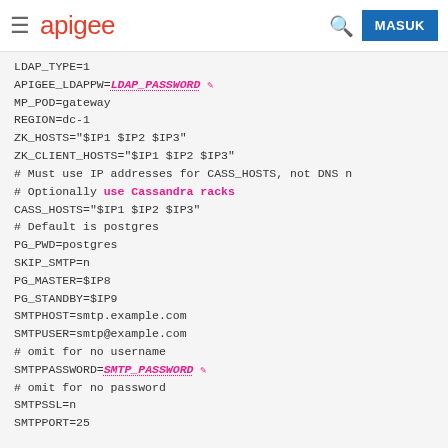apigee  MASUK
LDAP_TYPE=1
APIGEE_LDAPPW=LDAP_PASSWORD
MP_POD=gateway
REGION=dc-1
ZK_HOSTS="$IP1 $IP2 $IP3"
ZK_CLIENT_HOSTS="$IP1 $IP2 $IP3"
# Must use IP addresses for CASS_HOSTS, not DNS n
# Optionally use Cassandra racks
CASS_HOSTS="$IP1 $IP2 $IP3"
# Default is postgres
PG_PWD=postgres
SKIP_SMTP=n
PG_MASTER=$IP8
PG_STANDBY=$IP9
SMTPHOST=smtp.example.com
SMTPUSER=smtp@example.com
# omit for no username
SMTPPASSWORD=SMTP_PASSWORD
# omit for no password
SMTPSSL=n
SMTPPORT=25